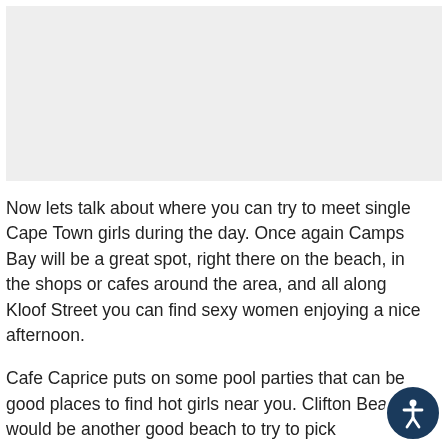[Figure (other): Gray placeholder image block at top of page]
Now lets talk about where you can try to meet single Cape Town girls during the day. Once again Camps Bay will be a great spot, right there on the beach, in the shops or cafes around the area, and all along Kloof Street you can find sexy women enjoying a nice afternoon.
Cafe Caprice puts on some pool parties that can be good places to find hot girls near you. Clifton Beach would be another good beach to try to pick